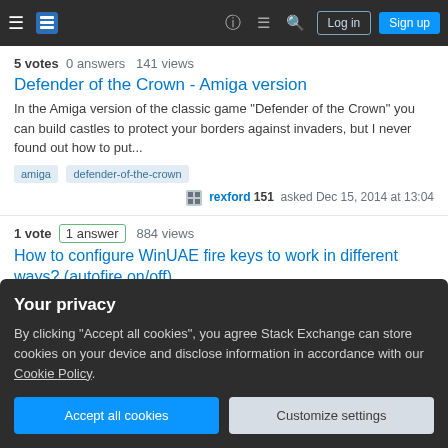Navigation bar with Stack Exchange logo, hamburger menu, help, chat, search icons, Log in and Sign up buttons
5 votes   0 answers   141 views
Defender of the Crown - Amiga version
In the Amiga version of the classic game "Defender of the Crown" you can build castles to protect your borders against invaders, but I never found out how to put...
amiga
defender-of-the-crown
rexford 151 asked Dec 15, 2014 at 13:04
1 vote   1 answer   884 views
How to configure WinUAE fire keys to work in different ways? (autofire on/off)
I'm trying to configure WinUAE to be able to use the RCtrl for non-autofire and RAlt for autofire. Here is how my config screen looks like: My problem is that if I change
Your privacy
By clicking "Accept all cookies", you agree Stack Exchange can store cookies on your device and disclose information in accordance with our Cookie Policy.
Accept all cookies
Customize settings
playing Amiga games on WinUAE?